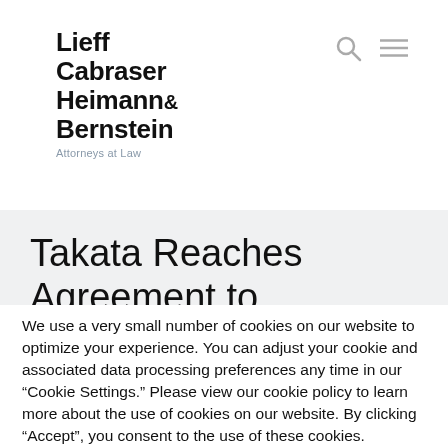[Figure (logo): Lieff Cabraser Heimann & Bernstein Attorneys at Law law firm logo with search and menu icons]
Takata Reaches Agreement to Pay Compensation for Injured
We use a very small number of cookies on our website to optimize your experience. You can adjust your cookie and associated data processing preferences any time in our “Cookie Settings.” Please view our cookie policy to learn more about the use of cookies on our website. By clicking “Accept”, you consent to the use of these cookies.
Do not sell my personal information
Cookie Policy  Cookie Settings  ACCEPT